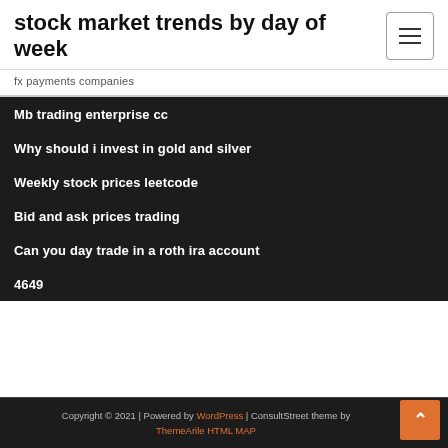stock market trends by day of week
fx payments companies
Mb trading enterprise cc
Why should i invest in gold and silver
Weekly stock prices leetcode
Bid and ask prices trading
Can you day trade in a roth ira account
4649
Copyright © 2021 | Powered by WordPress | ConsultStreet theme by ThemeArile HTML MAP